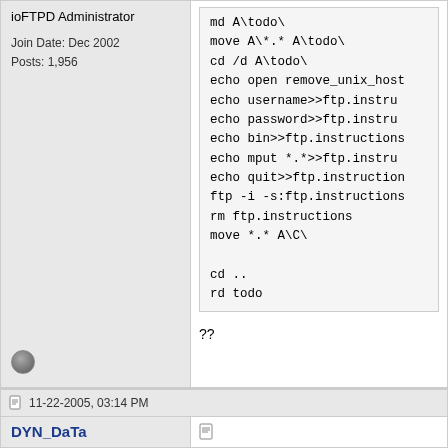ioFTPD Administrator
Join Date: Dec 2002
Posts: 1,956
[Figure (screenshot): Code block showing batch/shell script commands: md A\todo\, move A\*.* A\todo\, cd /d A\todo\, echo open remove_unix_host, echo username>>ftp.instru..., echo password>>ftp.instru..., echo bin>>ftp.instructions, echo mput *.*>>ftp.instru..., echo quit>>ftp.instruction..., ftp -i -s:ftp.instructions, rm ftp.instructions, move *.* A\C\, cd .., rd todo]
??
11-22-2005, 03:14 PM
DYN_DaTa